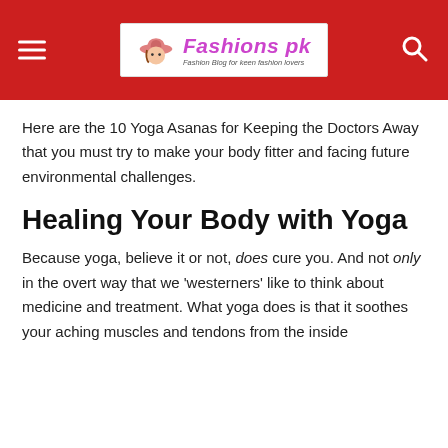Fashions pk — Fashion Blog for keen fashion lovers
Here are the 10 Yoga Asanas for Keeping the Doctors Away that you must try to make your body fitter and facing future environmental challenges.
Healing Your Body with Yoga
Because yoga, believe it or not, does cure you. And not only in the overt way that we 'westerners' like to think about medicine and treatment. What yoga does is that it soothes your aching muscles and tendons from the inside